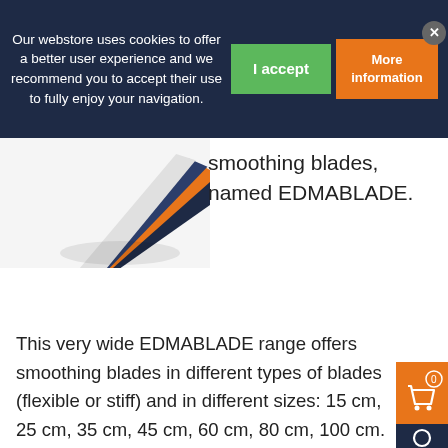Our webstore uses cookies to offer a better user experience and we recommend you to accept their use to fully enjoy your navigation.
[Figure (photo): Product image of EDMABLADE smoothing blades fanned out, showing dark blue and orange colored blades]
smoothing blades, named EDMABLADE.
This very wide EDMABLADE range offers smoothing blades in different types of blades (flexible or stiff) and in different sizes: 15 cm, 25 cm, 35 cm, 45 cm, 60 cm, 80 cm, 100 cm.
The EDMABLADE range also includes a handle with a swivel head that allows the blades to be connected to a telescopic pole and to adapt to different work surfaces.
This range, available for France only for the moment, will soon be available for other